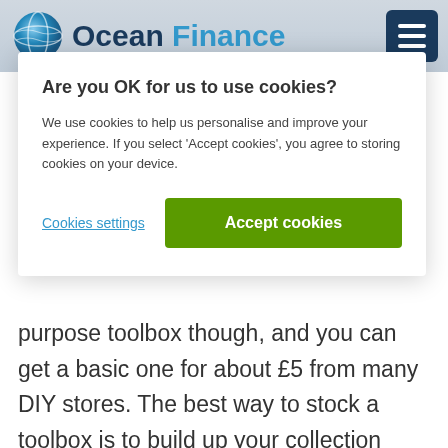Ocean Finance
Are you OK for us to use cookies?
We use cookies to help us personalise and improve your experience. If you select 'Accept cookies', you agree to storing cookies on your device.
Cookies settings   Accept cookies
purpose toolbox though, and you can get a basic one for about £5 from many DIY stores. The best way to stock a toolbox is to build up your collection gradually – that way you won't spend loads on tools you don't need. The basics you should have include: